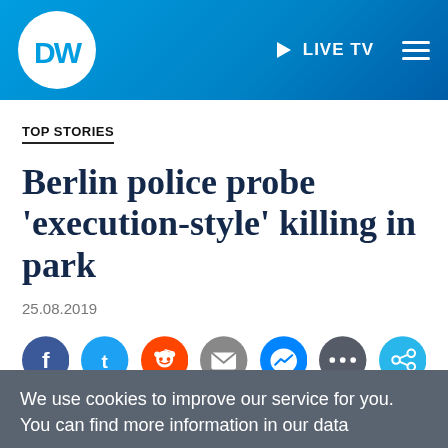[Figure (logo): DW (Deutsche Welle) logo and navigation header with blue gradient background, LIVE TV button, and hamburger menu]
TOP STORIES
Berlin police probe 'execution-style' killing in park
25.08.2019
[Figure (infographic): Social media sharing icons row: Facebook, Twitter, Reddit, Email, Messenger, More, Share]
We use cookies to improve our service for you. You can find more information in our data